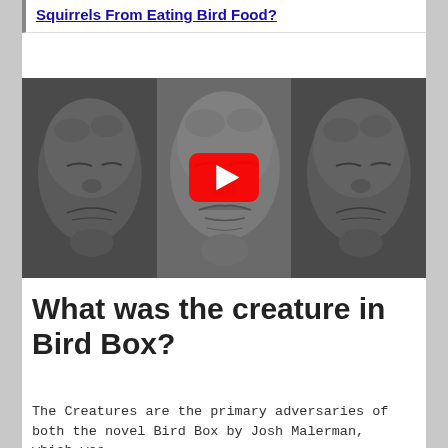Squirrels From Eating Bird Food?
[Figure (screenshot): YouTube video thumbnail showing three views of a creepy grey sculptural creature face with wrinkled skin, with a red YouTube play button overlay in the center.]
What was the creature in Bird Box?
The Creatures are the primary adversaries of both the novel Bird Box by Josh Malerman, which was